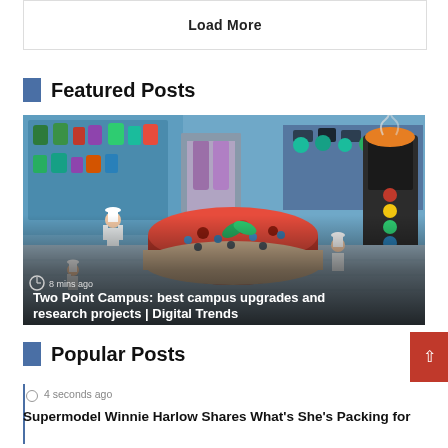Load More
Featured Posts
[Figure (screenshot): Isometric game screenshot of Two Point Campus showing a bakery/pastry kitchen with cartoon chef characters, a large decorative cake, and cooking equipment with colorful UI elements. Overlaid text reads '8 mins ago' and 'Two Point Campus: best campus upgrades and research projects | Digital Trends']
Popular Posts
4 seconds ago
Supermodel Winnie Harlow Shares What's She's Packing for